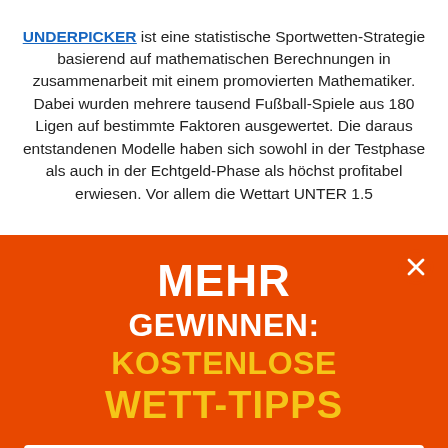UNDERPICKER ist eine statistische Sportwetten-Strategie basierend auf mathematischen Berechnungen in zusammenarbeit mit einem promovierten Mathematiker. Dabei wurden mehrere tausend Fußball-Spiele aus 180 Ligen auf bestimmte Faktoren ausgewertet. Die daraus entstandenen Modelle haben sich sowohl in der Testphase als auch in der Echtgeld-Phase als höchst profitabel erwiesen. Vor allem die Wettart UNTER 1.5
MEHR GEWINNEN: KOSTENLOSE WETT-TIPPS
deine@mail.de
SENDEN